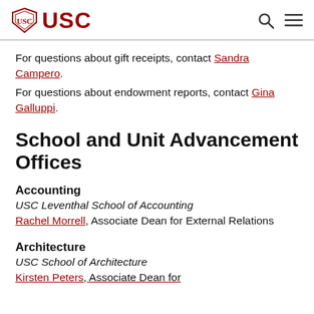USC
For questions about gift receipts, contact Sandra Campero.
For questions about endowment reports, contact Gina Galluppi.
School and Unit Advancement Offices
Accounting
USC Leventhal School of Accounting
Rachel Morrell, Associate Dean for External Relations
Architecture
USC School of Architecture
Kirsten Peters, Associate Dean for...